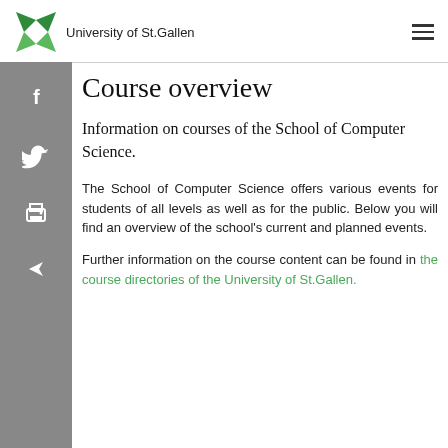University of St.Gallen
[Figure (logo): University of St. Gallen green star/pinwheel logo]
Course overview
Information on courses of the School of Computer Science.
The School of Computer Science offers various events for students of all levels as well as for the public. Below you will find an overview of the school's current and planned events.
Further information on the course content can be found in the course directories of the University of St.Gallen.